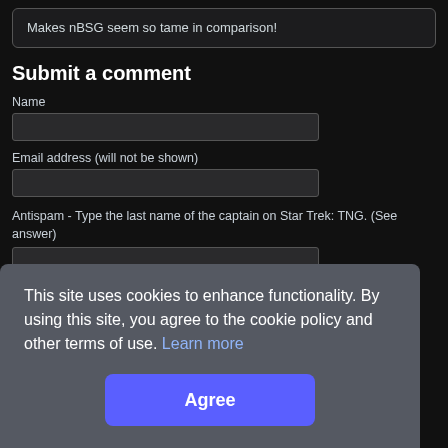Makes nBSG seem so tame in comparison!
Submit a comment
Name
Email address (will not be shown)
Antispam - Type the last name of the captain on Star Trek: TNG. (See answer)
This site uses cookies to enhance functionality. By using this site, you agree to the cookie policy and other terms of use. Learn more
Agree